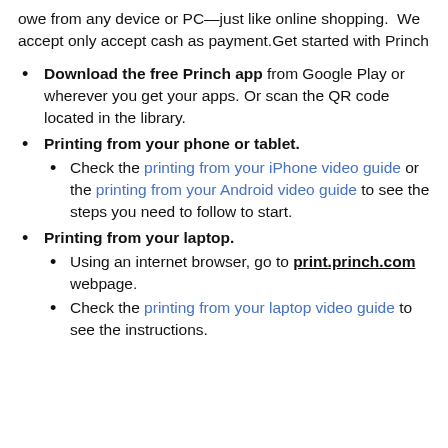owe from any device or PC—just like online shopping.  We accept only accept cash as payment.Get started with Princh
Download the free Princh app from Google Play or wherever you get your apps. Or scan the QR code located in the library.
Printing from your phone or tablet.
Check the printing from your iPhone video guide or the printing from your Android video guide to see the steps you need to follow to start.
Printing from your laptop.
Using an internet browser, go to print.princh.com webpage.
Check the printing from your laptop video guide to see the instructions.